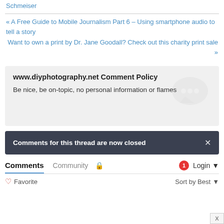Schmeiser
« A Free Guide to Mobile Journalism Part 6 – Using smartphone audio to tell a story
Want to own a print by Dr. Jane Goodall? Check out this charity print sale »
www.diyphotography.net Comment Policy
Be nice, be on-topic, no personal information or flames
Comments for this thread are now closed
Comments  Community  Login
Favorite  Sort by Best